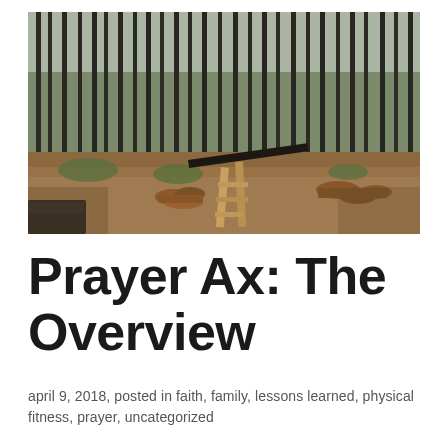[Figure (photo): Outdoor forest/woodland scene with tall pine trees, cleared ground with cut logs and lumber scattered around, a wooden ladder or frame structure visible in the foreground center, dirt ground with sparse low vegetation, overcast sky visible through tree tops.]
Prayer Ax: The Overview
april 9, 2018, posted in faith, family, lessons learned, physical fitness, prayer, uncategorized